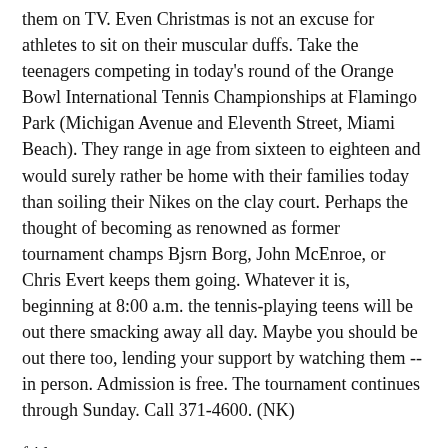them on TV. Even Christmas is not an excuse for athletes to sit on their muscular duffs. Take the teenagers competing in today's round of the Orange Bowl International Tennis Championships at Flamingo Park (Michigan Avenue and Eleventh Street, Miami Beach). They range in age from sixteen to eighteen and would surely rather be home with their families today than soiling their Nikes on the clay court. Perhaps the thought of becoming as renowned as former tournament champs Bjsrn Borg, John McEnroe, or Chris Evert keeps them going. Whatever it is, beginning at 8:00 a.m. the tennis-playing teens will be out there smacking away all day. Maybe you should be out there too, lending your support by watching them -- in person. Admission is free. The tournament continues through Sunday. Call 371-4600. (NK)
friday
december 26
Miccosukee Indian Arts Festival: If fear of rabid, Hollywood...